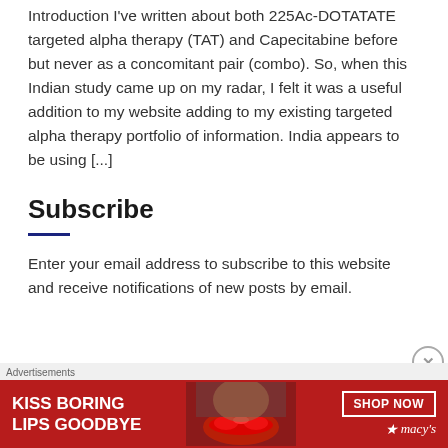Introduction I've written about both 225Ac-DOTATATE targeted alpha therapy (TAT) and Capecitabine before but never as a concomitant pair (combo). So, when this Indian study came up on my radar, I felt it was a useful addition to my website adding to my existing targeted alpha therapy portfolio of information. India appears to be using [...]
Subscribe
Enter your email address to subscribe to this website and receive notifications of new posts by email.
[Figure (other): Advertisement banner for Macy's lipstick product. Red background with text 'KISS BORING LIPS GOODBYE' on left, photo of woman with red lips in center, 'SHOP NOW' button and Macy's star logo on right.]